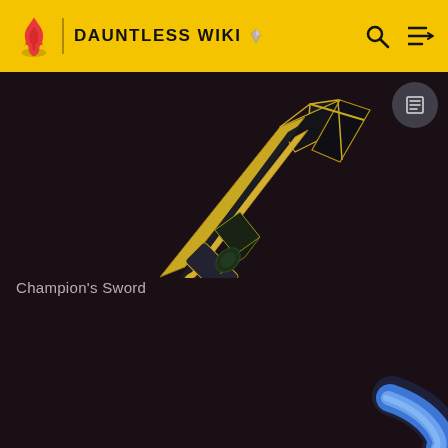DAUNTLESS WIKI
[Figure (screenshot): Dauntless Wiki website header with yellow background, flame logo, DAUNTLESS WIKI text, search icon and menu icon on the right]
[Figure (photo): Dark background showing two game weapons: Champion's Sword (black and gold angular sword) in the upper portion, and a second sword with brown leather handle and blue glowing blade partially visible at the bottom]
Champion's Sword